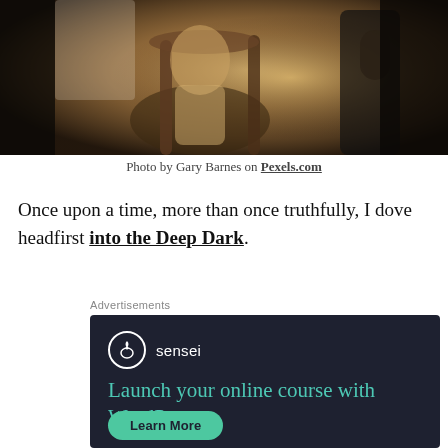[Figure (photo): Photo of people sitting at a cafe table with wooden chairs, warm golden-brown tones, two figures visible]
Photo by Gary Barnes on Pexels.com
Once upon a time, more than once truthfully, I dove headfirst into the Deep Dark.
Advertisements
[Figure (other): Advertisement for Sensei plugin: 'Launch your online course with WordPress' with a Learn More button on dark navy background]